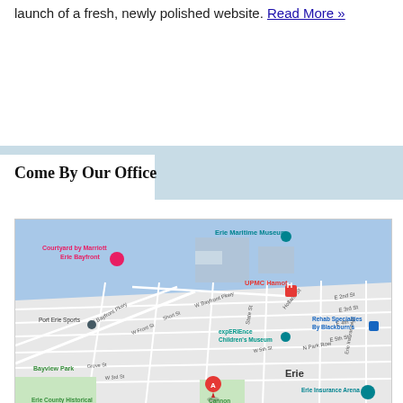launch of a fresh, newly polished website. Read More »
Come By Our Office
[Figure (map): Google Maps view of Erie, PA waterfront area showing landmarks including Courtyard by Marriott Erie Bayfront, Erie Maritime Museum, UPMC Hamot, Port Erie Sports, expERIEnce Children's Museum, Rehab Specialties By Blackburn's, Bayview Park, Erie Insurance Arena, Erie County Historical, and a red marker labeled A near Cannon Street area.]